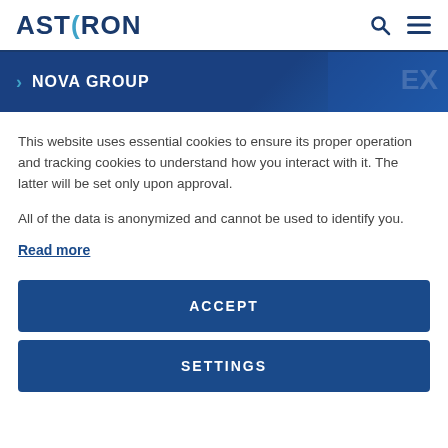ASTRON
NOVA GROUP
This website uses essential cookies to ensure its proper operation and tracking cookies to understand how you interact with it. The latter will be set only upon approval.
All of the data is anonymized and cannot be used to identify you.
Read more
ACCEPT
SETTINGS